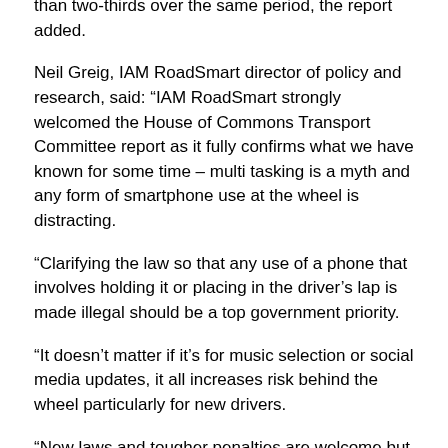than two-thirds over the same period, the report added.
Neil Greig, IAM RoadSmart director of policy and research, said: “IAM RoadSmart strongly welcomed the House of Commons Transport Committee report as it fully confirms what we have known for some time – multi tasking is a myth and any form of smartphone use at the wheel is distracting.
“Clarifying the law so that any use of a phone that involves holding it or placing in the driver’s lap is made illegal should be a top government priority.
“It doesn’t matter if it’s for music selection or social media updates, it all increases risk behind the wheel particularly for new drivers.
“New laws and tougher penalties are welcome but will only work if the fear of being caught is increased.